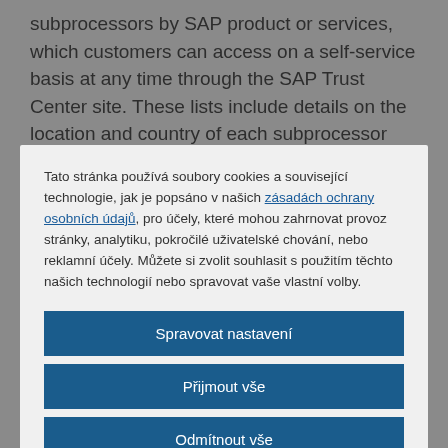subprocessors by SAP product or services, which customers can access on a self-service basis at any time through the SAP Trust Center site. These lists include details on the location and country of each subprocessor per product or service. Customers can subscribe to subprocessor lists and receive e-mail
Tato stránka používá soubory cookies a související technologie, jak je popsáno v našich zásadách ochrany osobních údajů, pro účely, které mohou zahrnovat provoz stránky, analytiku, pokročilé uživatelské chování, nebo reklamní účely. Můžete si zvolit souhlasit s použitím těchto našich technologií nebo spravovat vaše vlastní volby.
Spravovat nastavení
Přijmout vše
Odmítnout vše
Prohlášení o souborech cookies
transfer tools to ensure compliance with the EU level